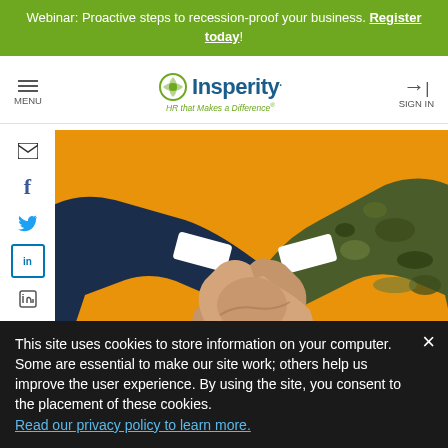Webinar: Proactive steps to recession-proof your business. Register today!
[Figure (logo): Insperity logo with tagline HR that Makes a Difference]
[Figure (illustration): Illustration of a business handshake between a person in a suit and a person in military camouflage uniform, orange background]
This site uses cookies to store information on your computer. Some are essential to make our site work; others help us improve the user experience. By using the site, you consent to the placement of these cookies. Read our privacy policy to learn more.